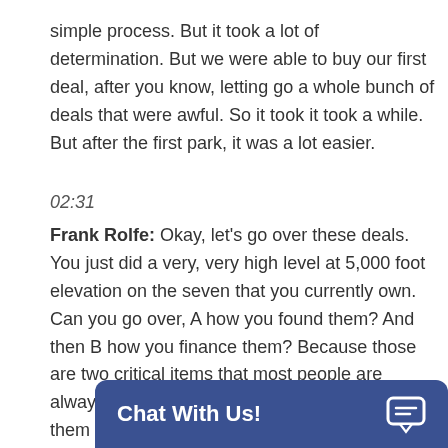simple process. But it took a lot of determination. But we were able to buy our first deal, after you know, letting go a whole bunch of deals that were awful. So it took it took a while. But after the first park, it was a lot easier.
02:31
Frank Rolfe: Okay, let's go over these deals. You just did a very, very high level at 5,000 foot elevation on the seven that you currently own. Can you go over, A how you found them? And then B how you finance them? Because those are two critical items that most people are always fascinated with. So how did you find them and how did you fin
Chat With Us!